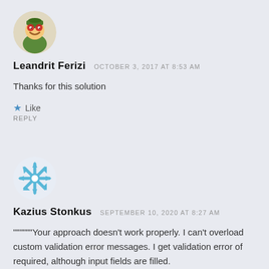[Figure (illustration): Circular avatar with a cartoon game character (Teemo from League of Legends) wearing a green hat with goggles, smiling]
Leandrit Ferizi  OCTOBER 3, 2017 AT 8:53 AM
Thanks for this solution
★ Like
REPLY
[Figure (illustration): Circular avatar with a blue and white snowflake/burst shape icon]
Kazius Stonkus  SEPTEMBER 10, 2020 AT 8:27 AM
""""""Your approach doesn't work properly. I can't overload custom validation error messages. I get validation error of required, although input fields are filled.
★ Like
REPLY